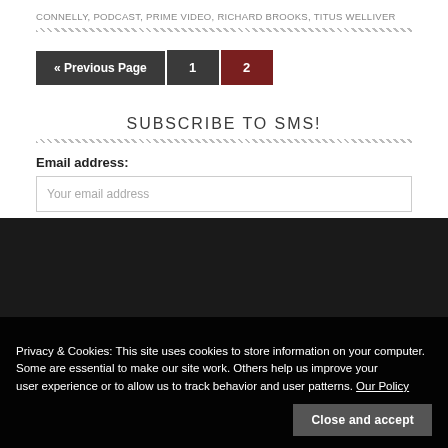CONNELLY, PODCAST, PRIME VIDEO, RICHARD BROOKS, TITUS WELLIVER
« Previous Page  1  2
SUBSCRIBE TO SMS!
Email address:
Your email address
Privacy & Cookies: This site uses cookies to store information on your computer. Some are essential to make our site work. Others help us improve your user experience or to allow us to track behavior and user patterns. Our Policy
Close and accept